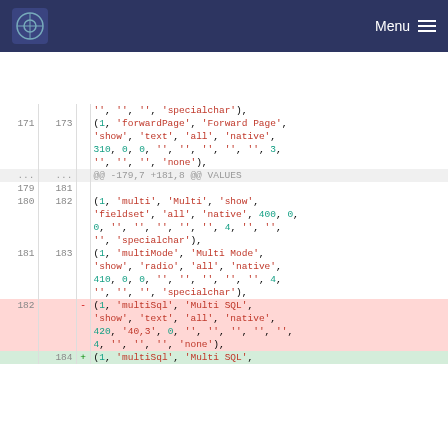Menu
Diff view of SQL file showing modifications to VALUES insert statements. Lines 171-184 showing context, removed and added lines.